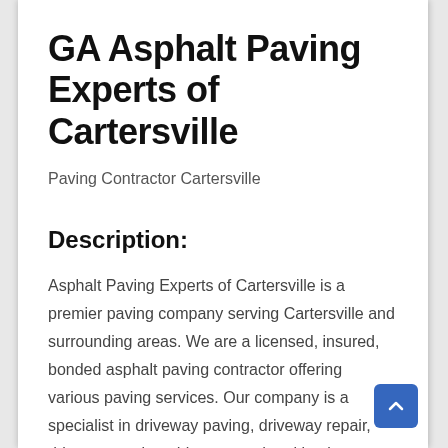GA Asphalt Paving Experts of Cartersville
Paving Contractor Cartersville
Description:
Asphalt Paving Experts of Cartersville is a premier paving company serving Cartersville and surrounding areas. We are a licensed, insured, bonded asphalt paving contractor offering various paving services. Our company is a specialist in driveway paving, driveway repair, driveway paving, driveway and parking lot resurfacing, driveway paver paving, driveway paving, driveway paving, and driveway paving. Our company has highly trained technicians